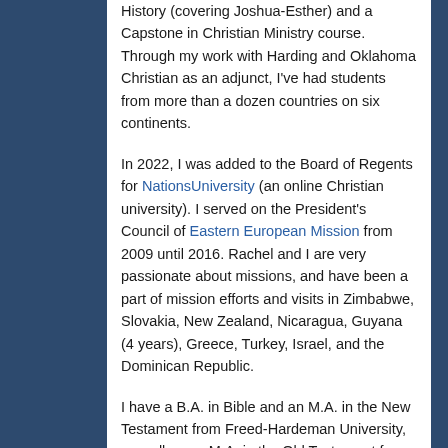History (covering Joshua-Esther) and a Capstone in Christian Ministry course. Through my work with Harding and Oklahoma Christian as an adjunct, I've had students from more than a dozen countries on six continents.
In 2022, I was added to the Board of Regents for NationsUniversity (an online Christian university). I served on the President's Council of Eastern European Mission from 2009 until 2016. Rachel and I are very passionate about missions, and have been a part of mission efforts and visits in Zimbabwe, Slovakia, New Zealand, Nicaragua, Guyana (4 years), Greece, Turkey, Israel, and the Dominican Republic.
I have a B.A. in Bible and an M.A. in the New Testament from Freed-Hardeman University, as well as an M.A. in the Old Testament from Harding School of Theology. I'm currently